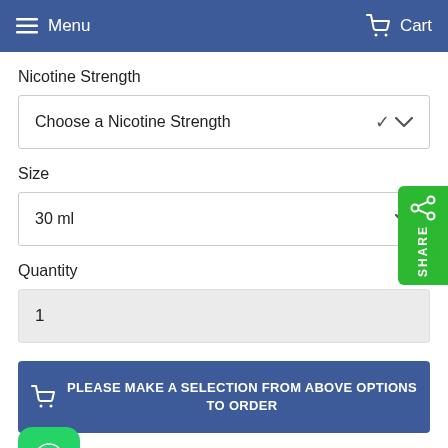Menu  Cart
Nicotine Strength
Choose a Nicotine Strength
Size
30 ml
Quantity
1
PLEASE MAKE A SELECTION FROM ABOVE OPTIONS TO ORDER
[Figure (other): Green SHARE tab button on right side]
[Figure (other): WhatsApp green icon button at bottom left]